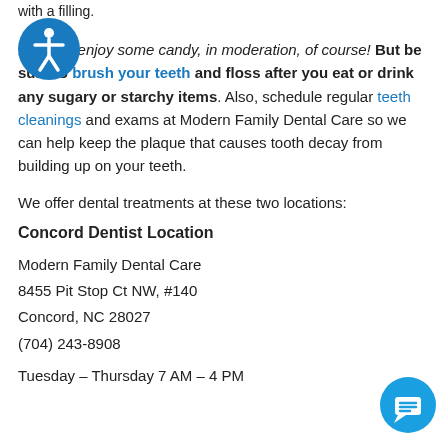with a filling.
[Figure (illustration): Blue circular accessibility icon with a human figure]
It's ok to enjoy some candy, in moderation, of course! But be sure to brush your teeth and floss after you eat or drink any sugary or starchy items. Also, schedule regular teeth cleanings and exams at Modern Family Dental Care so we can help keep the plaque that causes tooth decay from building up on your teeth.
We offer dental treatments at these two locations:
Concord Dentist Location
Modern Family Dental Care
8455 Pit Stop Ct NW, #140
Concord, NC 28027
(704) 243-8908
Tuesday – Thursday 7 AM – 4 PM
[Figure (illustration): Blue circular chat/message button icon in bottom right corner]